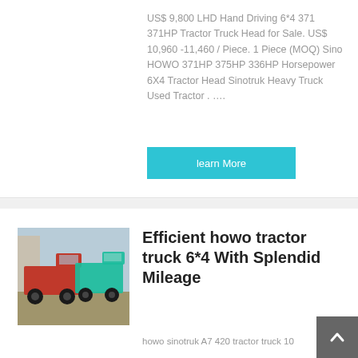US$ 9,800 LHD Hand Driving 6*4 371 371HP Tractor Truck Head for Sale. US$ 10,960 -11,460 / Piece. 1 Piece (MOQ) Sino HOWO 371HP 375HP 336HP Horsepower 6X4 Tractor Head Sinotruk Heavy Truck Used Tractor . ….
learn More
[Figure (photo): Photo of red and teal/green HOWO tractor trucks parked in a lot]
Efficient howo tractor truck 6*4 With Splendid Mileage
howo sinotruk A7 420 tractor truck 10